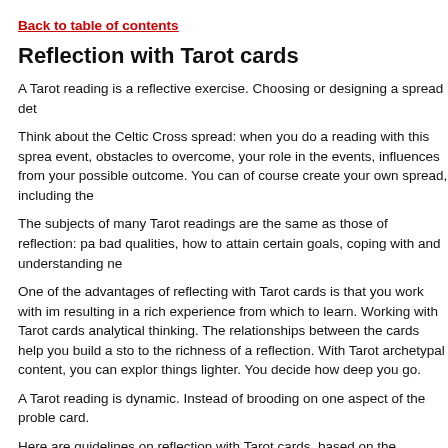Back to table of contents
Reflection with Tarot cards
A Tarot reading is a reflective exercise. Choosing or designing a spread det
Think about the Celtic Cross spread: when you do a reading with this sprea event, obstacles to overcome, your role in the events, influences from your possible outcome. You can of course create your own spread, including the
The subjects of many Tarot readings are the same as those of reflection: pa bad qualities, how to attain certain goals, coping with and understanding ne
One of the advantages of reflecting with Tarot cards is that you work with im resulting in a rich experience from which to learn. Working with Tarot cards analytical thinking. The relationships between the cards help you build a sto to the richness of a reflection. With Tarot archetypal content, you can explor things lighter. You decide how deep you go.
A Tarot reading is dynamic. Instead of brooding on one aspect of the proble card.
Here are guidelines on reflection with Tarot cards, based on the principles s
Back to table of contents
Preparation